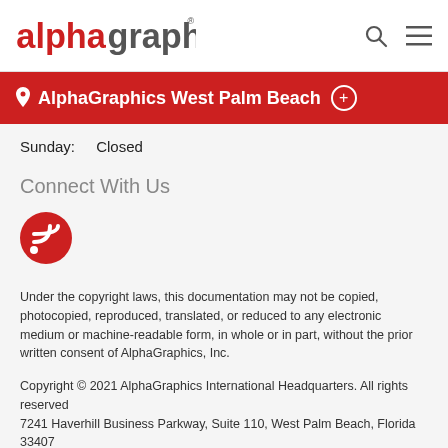AlphaGraphics logo, search icon, menu icon
AlphaGraphics West Palm Beach
Sunday:   Closed
Connect With Us
[Figure (logo): Red circle RSS feed icon]
Under the copyright laws, this documentation may not be copied, photocopied, reproduced, translated, or reduced to any electronic medium or machine-readable form, in whole or in part, without the prior written consent of AlphaGraphics, Inc.
Copyright © 2021 AlphaGraphics International Headquarters. All rights reserved
7241 Haverhill Business Parkway, Suite 110, West Palm Beach, Florida 33407